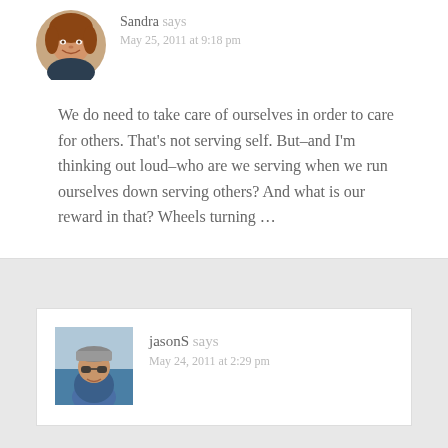[Figure (photo): Round avatar photo of Sandra, a woman with reddish-brown hair, smiling outdoors]
Sandra says
May 25, 2011 at 9:18 pm
We do need to take care of ourselves in order to care for others. That’s not serving self. But–and I’m thinking out loud–who are we serving when we run ourselves down serving others? And what is our reward in that? Wheels turning…
[Figure (photo): Round avatar photo of jasonS, a person wearing a cap and sunglasses outdoors]
jasonS says
May 24, 2011 at 2:29 pm